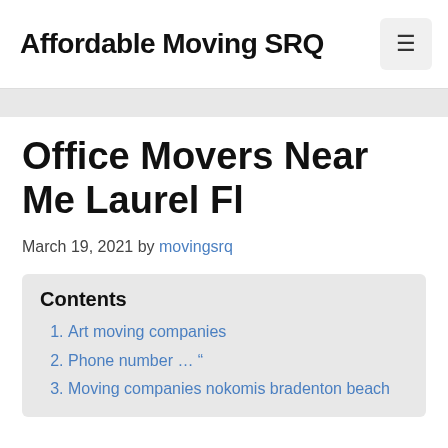Affordable Moving SRQ
Office Movers Near Me Laurel Fl
March 19, 2021 by movingsrq
Contents
Art moving companies
Phone number … “
Moving companies nokomis bradenton beach